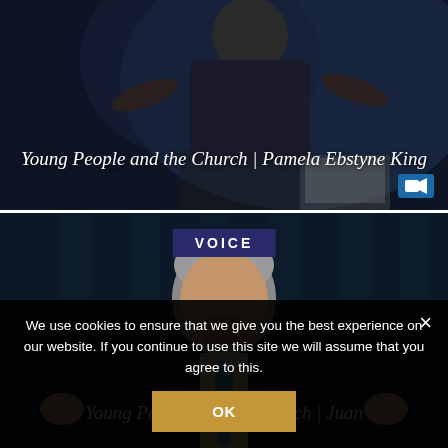[Figure (photo): Woman speaker at podium gesturing with hands, dark blue background, with text overlay 'Young People and the Church | Pamela Ebstyne King' and a video camera icon]
Young People and the Church | Pamela Ebstyne King
[Figure (photo): Middle-aged man in dark suit with light blue tie gesturing with hands, dark blue curtain background, with VOICE badge and text overlay 'Young People and the Church | Juan']
Young People and the Church | Juan
We use cookies to ensure that we give you the best experience on our website. If you continue to use this site we will assume that you agree to this.